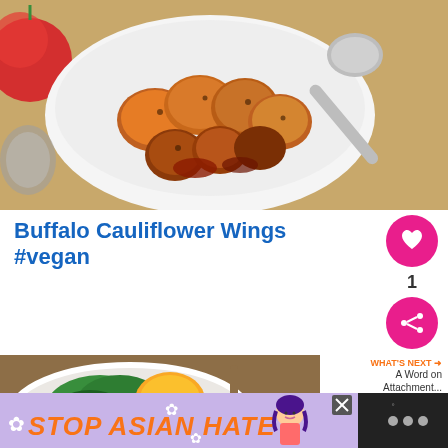[Figure (photo): Overhead view of buffalo cauliflower wings in a white bowl with a spoon, with a tomato visible on the side, on a wooden surface]
Buffalo Cauliflower Wings #vegan
[Figure (infographic): Heart like button (magenta circle with white heart icon), number 1, and share button (magenta circle with share icon) on the right side]
[Figure (photo): Bottom food photo showing vegetables in a white dish, partially visible]
[Figure (infographic): WHAT'S NEXT arrow label with text 'A Word on Attachment...' on the right side]
[Figure (infographic): Stop Asian Hate advertisement banner with orange text on purple/lavender background with flower decorations and anime-style character, with X close button, and dark box on right with dots]